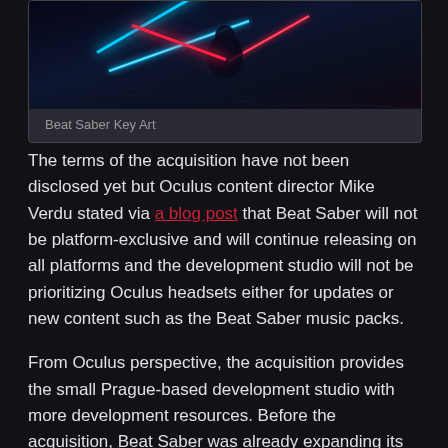[Figure (photo): Beat Saber Key Art — dark scene with glowing neon light sabers (blue and red) against a dark background]
Beat Saber Key Art
The terms of the acquisition have not been disclosed yet but Oculus content director Mike Verdu stated via a blog post that Beat Saber will not be platform-exclusive and will continue releasing on all platforms and the development studio will not be prioritizing Oculus headsets either for updates or new content such as the Beat Saber music packs.
From Oculus perspective, the acquisition provides the small Prague-based development studio with more development resources. Before the acquisition, Beat Saber was already expanding its small original song